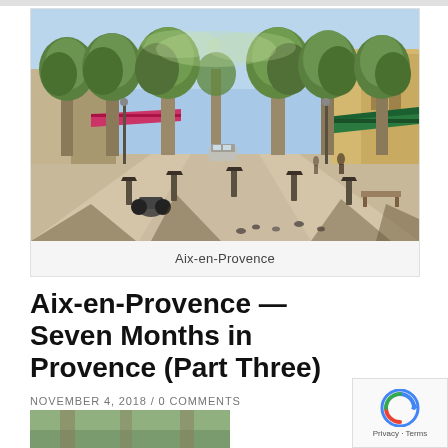[Figure (photo): Street scene in Aix-en-Provence showing a wide tree-lined boulevard (Cours Mirabeau) with tall plane trees, cafes on the right, pedestrians and a car in the background, stone paving in the foreground.]
Aix-en-Provence
Aix-en-Provence — Seven Months in Provence (Part Three)
NOVEMBER 4, 2018 / 0 COMMENTS
[Figure (photo): Partial view of another street photo at the very bottom of the page, cut off.]